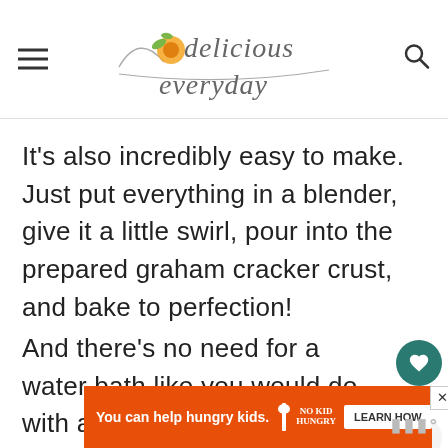delicious everyday
It's also incredibly easy to make. Just put everything in a blender, give it a little swirl, pour into the prepared graham cracker crust, and bake to perfection!
And there's no need for a water bath like you would do with a traditional cheesecake. Didn't I say this is so e
[Figure (infographic): Social sidebar with heart/save button showing 138 count and share button]
[Figure (infographic): Ad banner: You can help hungry kids. No Kid Hungry. LEARN HOW]